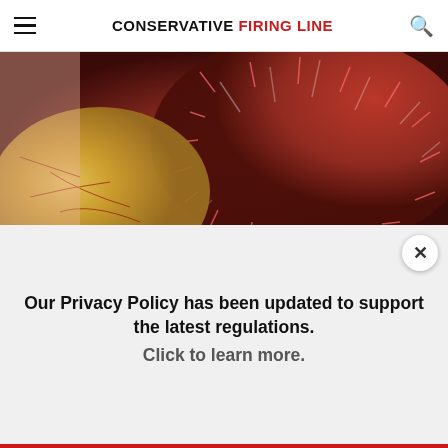CONSERVATIVE FIRING LINE
[Figure (photo): Close-up photo of a rambutan fruit with red spiky exterior and yellowish interior flesh]
Fighting Diabetes? This Discovery Leaves Doctors Speechless!
Daily Health Tips
[Figure (photo): Photo showing gravel or textured ground surface alongside a green smoothie or juice being poured into a glass]
Our Privacy Policy has been updated to support the latest regulations. Click to learn more.